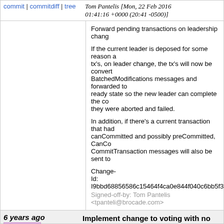commit | commitdiff | tree   Tom Pantelis [Mon, 22 Feb 2016 01:41:16 +0000 (20:41 -0500)]
Forward pending transactions on leadership change

If the current leader is deposed for some reason and there are pending tx's, on leader change, the tx's will now be converted to BatchedModifications messages and forwarded to the new leader in a ready state so the new leader can complete the cohort tx's rather than they were aborted and failed.

In addition, if there's a current transaction that had gotten past canCommitted and possibly preCommitted, CanCommit and CommitTransaction messages will also be sent to the new leader.

Change-Id: I9bbd68856586c15464f4ca0e844f040c6bb5f30
Signed-off-by: Tom Pantelis <tpanteli@brocade.com>
6 years ago   Implement change to voting with no leader
23/32723/12
commit | commitdiff | tree   Tom Pantelis [Wed, 13 Jan 2016 21:17:28 +0000 (16:17 -0500)]
Implement change to voting with no leader

Implemented a special case where on a voting sta non-